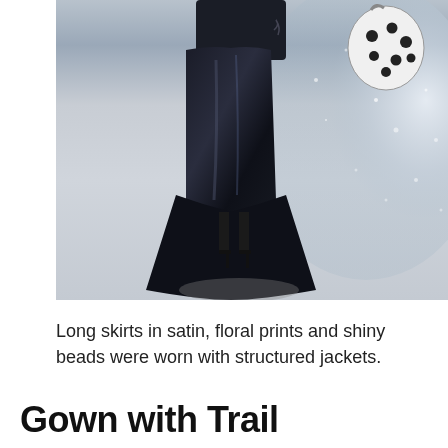[Figure (photo): Fashion runway photo showing models wearing dark satin gowns with train, high heels. One model holds a white and black spotted bag. Background appears to be a sparkling grey surface.]
Long skirts in satin, floral prints and shiny beads were worn with structured jackets.
Gown with Trail